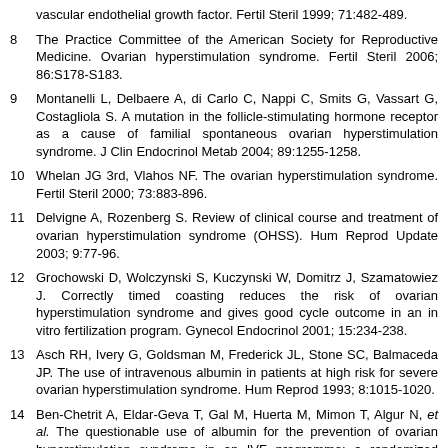vascular endothelial growth factor. Fertil Steril 1999; 71:482-489.
8  The Practice Committee of the American Society for Reproductive Medicine. Ovarian hyperstimulation syndrome. Fertil Steril 2006; 86:S178-S183.
9  Montanelli L, Delbaere A, di Carlo C, Nappi C, Smits G, Vassart G, Costagliola S. A mutation in the follicle-stimulating hormone receptor as a cause of familial spontaneous ovarian hyperstimulation syndrome. J Clin Endocrinol Metab 2004; 89:1255-1258.
10  Whelan JG 3rd, Vlahos NF. The ovarian hyperstimulation syndrome. Fertil Steril 2000; 73:883-896.
11  Delvigne A, Rozenberg S. Review of clinical course and treatment of ovarian hyperstimulation syndrome (OHSS). Hum Reprod Update 2003; 9:77-96.
12  Grochowski D, Wolczynski S, Kuczynski W, Domitrz J, Szamatowiez J. Correctly timed coasting reduces the risk of ovarian hyperstimulation syndrome and gives good cycle outcome in an in vitro fertilization program. Gynecol Endocrinol 2001; 15:234-238.
13  Asch RH, Ivery G, Goldsman M, Frederick JL, Stone SC, Balmaceda JP. The use of intravenous albumin in patients at high risk for severe ovarian hyperstimulation syndrome. Hum Reprod 1993; 8:1015-1020.
14  Ben-Chetrit A, Eldar-Geva T, Gal M, Huerta M, Mimon T, Algur N, et al. The questionable use of albumin for the prevention of ovarian hyperstimulation syndrome in an IVF programme: a randomized placebo-controlled trial. Hum Reprod 2001; 16:1880-1884.
15  Kissler S, Neidhardt B, Siebzehnrübl E, Schmitt H, Tschaikowsky K, Wildt L. The detrimental role of colloidal volume substitutes in severe ovarian hyperstimulation syndrome.